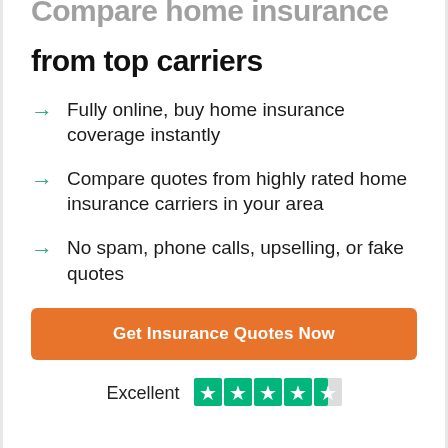from top carriers
Fully online, buy home insurance coverage instantly
Compare quotes from highly rated home insurance carriers in your area
No spam, phone calls, upselling, or fake quotes
Get Insurance Quotes Now
Excellent